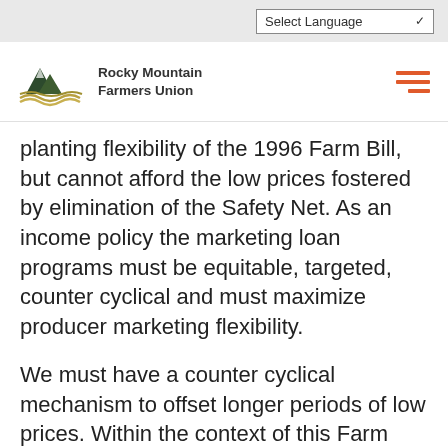Select Language
[Figure (logo): Rocky Mountain Farmers Union logo with mountain and wheat field imagery]
planting flexibility of the 1996 Farm Bill, but cannot afford the low prices fostered by elimination of the Safety Net. As an income policy the marketing loan programs must be equitable, targeted, counter cyclical and must maximize producer marketing flexibility.
We must have a counter cyclical mechanism to offset longer periods of low prices. Within the context of this Farm Bill, we must begin to